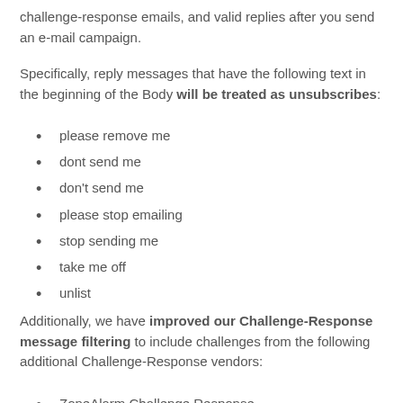challenge-response emails, and valid replies after you send an e-mail campaign.
Specifically, reply messages that have the following text in the beginning of the Body will be treated as unsubscribes:
please remove me
dont send me
don't send me
please stop emailing
stop sending me
take me off
unlist
Additionally, we have improved our Challenge-Response message filtering to include challenges from the following additional Challenge-Response vendors:
ZoneAlarm Challenge Response
Bsafe Online Challenge REsponse